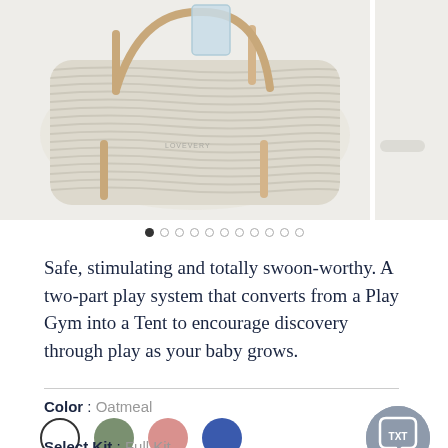[Figure (photo): Baby play gym on a striped oatmeal-colored mat with wooden legs and a small mirror, photographed from above on a light grey background. A partial second product image is visible on the right edge.]
• ○ ○ ○ ○ ○ ○ ○ ○ ○ (image carousel navigation dots, first dot filled)
Safe, stimulating and totally swoon-worthy. A two-part play system that converts from a Play Gym into a Tent to encourage discovery through play as your baby grows.
Color : Oatmeal
Select Kit : Full Kit